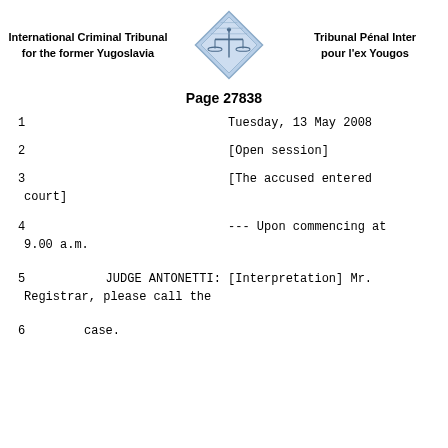International Criminal Tribunal for the former Yugoslavia | Tribunal Pénal Inter pour l'ex Yougos
Page 27838
1                              Tuesday, 13 May 2008
2                              [Open session]
3                              [The accused entered court]
4                              --- Upon commencing at 9.00 a.m.
5         JUDGE ANTONETTI: [Interpretation] Mr. Registrar, please call the
6    case.